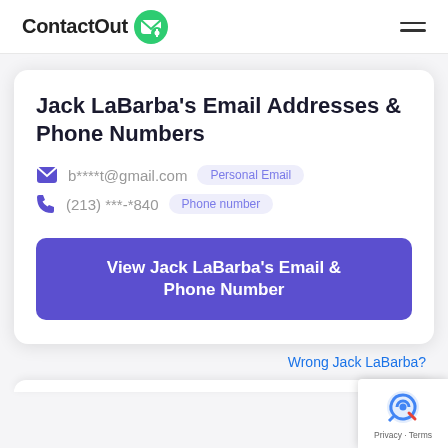ContactOut
Jack LaBarba's Email Addresses & Phone Numbers
b****t@gmail.com  Personal Email
(213) ***-*840  Phone number
View Jack LaBarba's Email & Phone Number
Wrong Jack LaBarba?